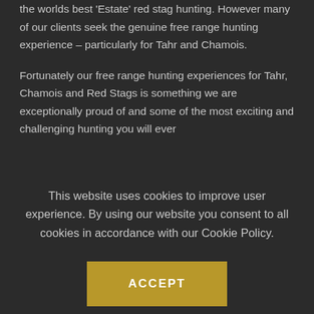the worlds best 'Estate' red stag hunting. However many of our clients seek the genuine free range hunting experience – particularly for Tahr and Chamois.
Fortunately our free range hunting experiences for Tahr, Chamois and Red Stags is something we are exceptionally proud of and some of the most exciting and challenging hunting you will ever
This website uses cookies to improve user experience. By using our website you consent to all cookies in accordance with our Cookie Policy.
ACCEPT